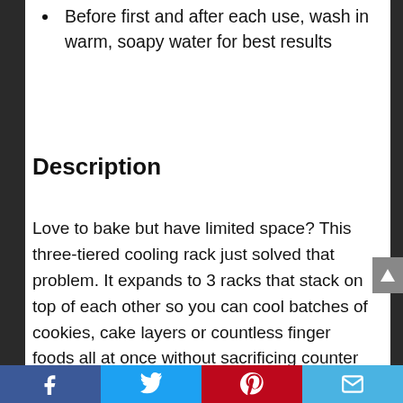Before first and after each use, wash in warm, soapy water for best results
Description
Love to bake but have limited space? This three-tiered cooling rack just solved that problem. It expands to 3 racks that stack on top of each other so you can cool batches of cookies, cake layers or countless finger foods all at once without sacrificing counter space. Once done, it collapses right back down for easy storage.